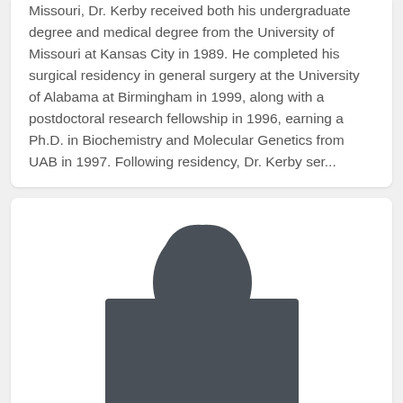Missouri, Dr. Kerby received both his undergraduate degree and medical degree from the University of Missouri at Kansas City in 1989. He completed his surgical residency in general surgery at the University of Alabama at Birmingham in 1999, along with a postdoctoral research fellowship in 1996, earning a Ph.D. in Biochemistry and Molecular Genetics from UAB in 1997. Following residency, Dr. Kerby ser...
[Figure (illustration): Generic silhouette placeholder image of a person (head and shoulders, dark gray fill)]
Jewell Halanych, Scientist (C)